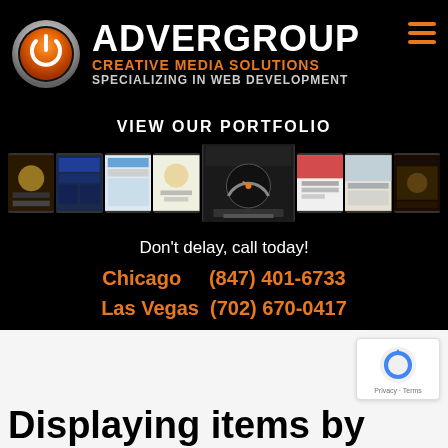[Figure (logo): AdverGroup Creative Media Solutions logo with orange power button icon and white/orange text]
VIEW OUR PORTFOLIO
[Figure (screenshot): Portfolio strip showing multiple website thumbnail screenshots in a row]
Don't delay, call today!
Chicago (847) 401-6733
Las Vegas (702) 670-0417
[Figure (other): Google reCAPTCHA badge with Privacy - Terms text]
Displaying items by